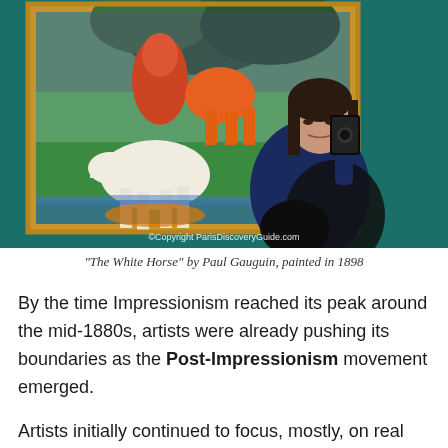[Figure (photo): A woman taking a selfie in front of Paul Gauguin's 'The White Horse' painting in a museum. The painting shows a white horse in a colorful tropical scene. On the right side of the image, a museum gallery with teal walls displays a pale pink canvas and a wooden sculpture in a glass case.]
"The White Horse" by Paul Gauguin, painted in 1898
By the time Impressionism reached its peak around the mid-1880s, artists were already pushing its boundaries as the Post-Impressionism movement emerged.
Artists initially continued to focus, mostly, on real life